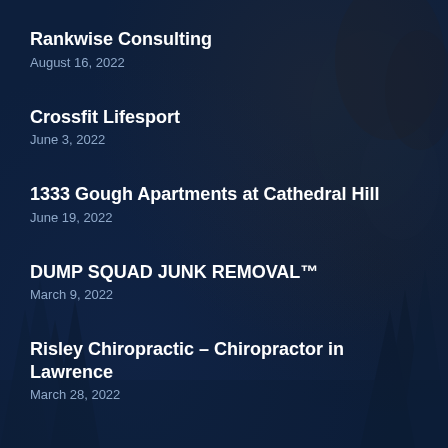Rankwise Consulting
August 16, 2022
Crossfit Lifesport
June 3, 2022
1333 Gough Apartments at Cathedral Hill
June 19, 2022
DUMP SQUAD JUNK REMOVAL™
March 9, 2022
Risley Chiropractic – Chiropractor in Lawrence
March 28, 2022